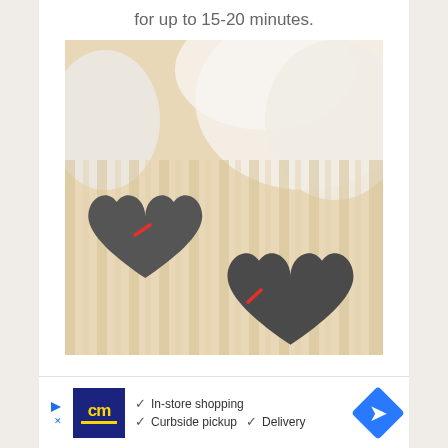for up to 15-20 minutes.
[Figure (photo): Close-up photo of two grey felt heart-shaped decorations with red stitching, placed on a cream/beige knitted blanket or sweater. Soft white fluffy material visible in the background.]
[Figure (infographic): Advertisement banner for Canadian Mega store (cm logo) showing: In-store shopping, Curbside pickup, Delivery options with checkmarks. Blue arrow navigation icon on right. Skip ad controls on left.]